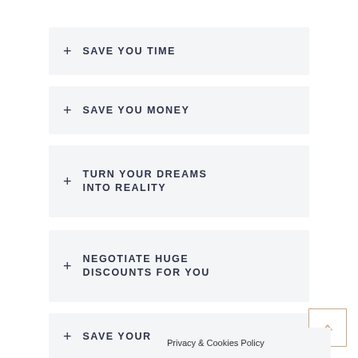+ SAVE YOU TIME
+ SAVE YOU MONEY
+ TURN YOUR DREAMS INTO REALITY
+ NEGOTIATE HUGE DISCOUNTS FOR YOU
+ SAVE YOUR SANITY
Privacy & Cookies Policy